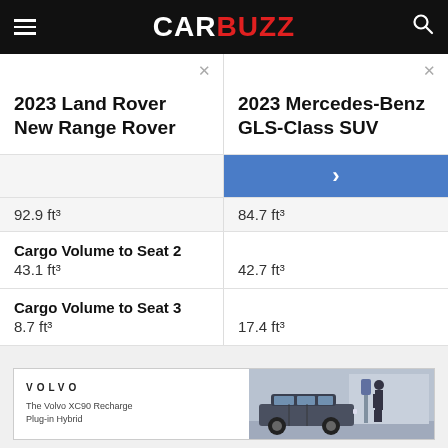CARBUZZ
2023 Land Rover New Range Rover
2023 Mercedes-Benz GLS-Class SUV
|  | 2023 Land Rover New Range Rover | 2023 Mercedes-Benz GLS-Class SUV |
| --- | --- | --- |
| Cargo Volume (total) | 92.9 ft³ | 84.7 ft³ |
| Cargo Volume to Seat 2 | 43.1 ft³ | 42.7 ft³ |
| Cargo Volume to Seat 3 | 8.7 ft³ | 17.4 ft³ |
[Figure (photo): Advertisement for Volvo XC90 Recharge Plug-in Hybrid showing a person next to the vehicle at a charging station]